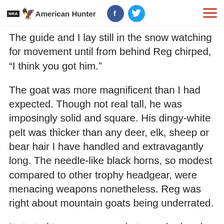NRA American Hunter
The guide and I lay still in the snow watching for movement until from behind Reg chirped, “I think you got him.”
The goat was more magnificent than I had expected. Though not real tall, he was imposingly solid and square. His dingy-white pelt was thicker than any deer, elk, sheep or bear hair I have handled and extravagantly long. The needle-like black horns, so modest compared to other trophy headgear, were menacing weapons nonetheless. Reg was right about mountain goats being underrated.
It started to snow as we photographed and dressed and quartered my kill, and for a time the air turned